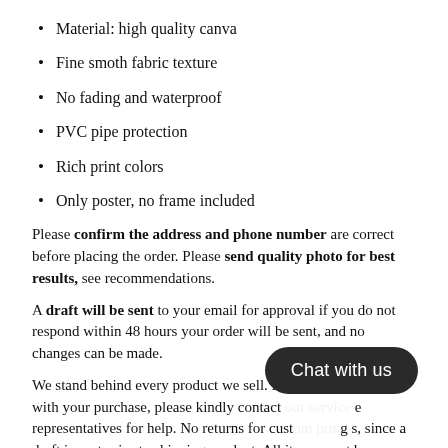Material: high quality canva
Fine smoth fabric texture
No fading and waterproof
PVC pipe protection
Rich print colors
Only poster, no frame included
Please confirm the address and phone number are correct before placing the order. Please send quality photo for best results, see recommendations.
A draft will be sent to your email for approval if you do not respond within 48 hours your order will be sent, and no changes can be made.
We stand behind every product we sell. If y[ou are not satisfied] with your purchase, please kindly contact[ our customer servic]e representatives for help. No returns for cust[om printin]g [item]s, since a draft is sent prior to shipping product. All items must be